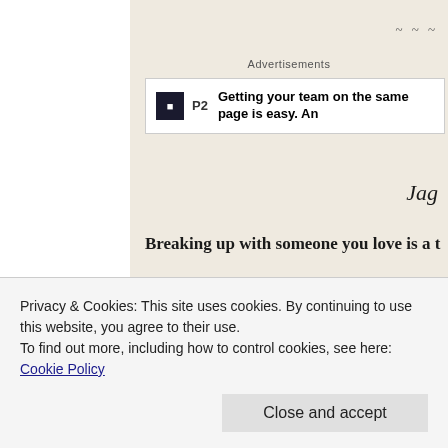~ ~ ~
Advertisements
[Figure (screenshot): Advertisement banner for P2 with text: Getting your team on the same page is easy. An...]
Jag
Breaking up with someone you love is a t
First of all, you still love them, so why the
Privacy & Cookies: This site uses cookies. By continuing to use this website, you agree to their use.
To find out more, including how to control cookies, see here: Cookie Policy
Close and accept